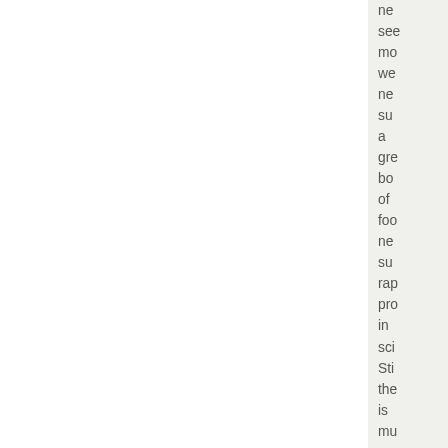ne
see
mo
we
ne
su
a
gre
bo
of
foo
ne
su
rap
pro
in
sc
Sti
the
is
mu
co
an
un
sw